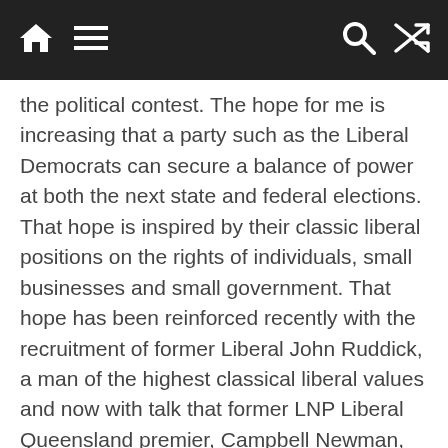Navigation bar with home, menu, search, and shuffle icons
the political contest. The hope for me is increasing that a party such as the Liberal Democrats can secure a balance of power at both the next state and federal elections. That hope is inspired by their classic liberal positions on the rights of individuals, small businesses and small government. That hope has been reinforced recently with the recruitment of former Liberal John Ruddick, a man of the highest classical liberal values and now with talk that former LNP Liberal Queensland premier, Campbell Newman, may also be joining the Liberal Democrat ranks.
It's a sad reflection that people of this quality and integrity and other such as Craig Kelly and